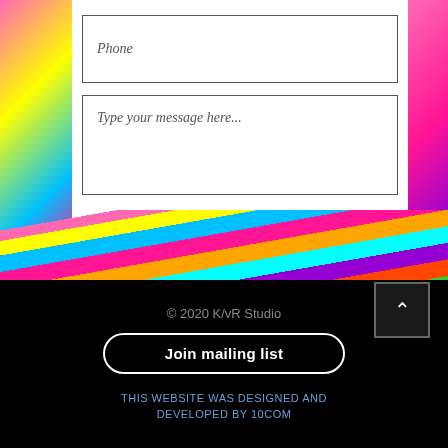Phone
Type your message here...
Submit
[Figure (photo): Colorful abstract strips/ribbons forming a vivid multicolor band across the page]
© 2020 K/vR Studio
Join mailing list
THIS WEBSITE WAS DESIGNED AND DEVELOPED BY 10COM